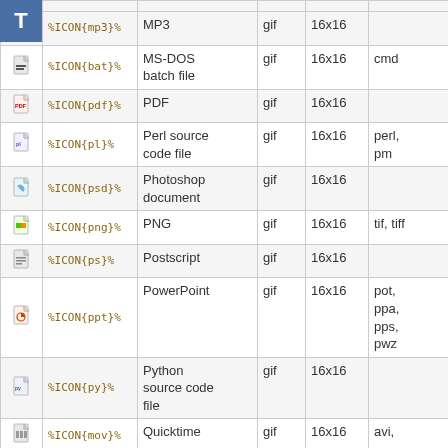| Icon | Variable | Description | Type | Size | Extensions |
| --- | --- | --- | --- | --- | --- |
| [icon] | %ICON{mp3}% | MP3 | gif | 16x16 |  |
| [icon] | %ICON{bat}% | MS-DOS batch file | gif | 16x16 | cmd |
| [icon] | %ICON{pdf}% | PDF | gif | 16x16 |  |
| [icon] | %ICON{pl}% | Perl source code file | gif | 16x16 | perl, pm |
| [icon] | %ICON{psd}% | Photoshop document | gif | 16x16 |  |
| [icon] | %ICON{png}% | PNG | gif | 16x16 | tif, tiff |
| [icon] | %ICON{ps}% | Postscript | gif | 16x16 |  |
| [icon] | %ICON{ppt}% | PowerPoint | gif | 16x16 | pot, ppa, pps, pwz |
| [icon] | %ICON{py}% | Python source code file | gif | 16x16 |  |
| [icon] | %ICON{mov}% | Quicktime | gif | 16x16 | avi, |